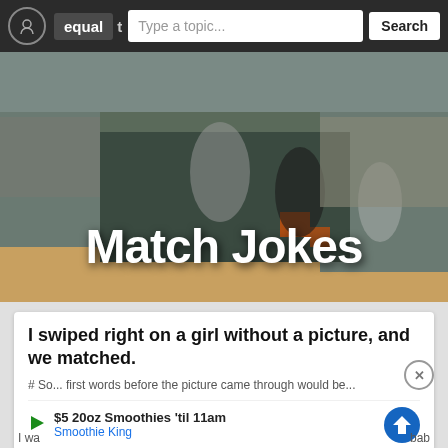equal  t  Type a topic...  Search
[Figure (photo): Basketball game action photo showing players jumping and competing, with a crowd in the background. White text overlay reads 'Match Jokes'.]
Match Jokes
I swiped right on a girl without a picture, and we matched.
# So... first words before the picture came through would be...
$5 20oz Smoothies 'til 11am
Smoothie King